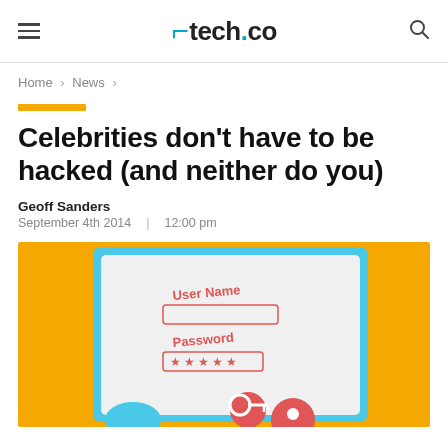tech.co
Home > News >
Celebrities don't have to be hacked (and neither do you)
Geoff Sanders
September 4th 2014 | 12:00 pm
[Figure (illustration): Illustration showing a login form with User Name and Password fields (with asterisks), and a key icon, on a blue-framed white card against a yellow/orange background.]